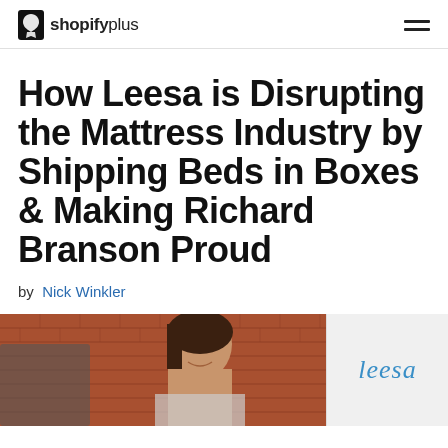shopify plus
How Leesa is Disrupting the Mattress Industry by Shipping Beds in Boxes & Making Richard Branson Proud
by Nick Winkler
[Figure (photo): Woman smiling in front of a brick wall, with the Leesa logo visible on the right side of the image]